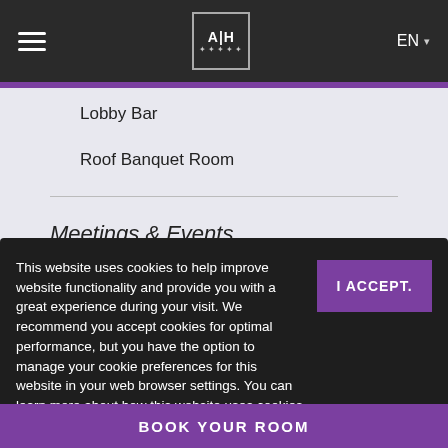AH — hotel website navigation header with hamburger menu, logo, and EN language selector
Lobby Bar
Roof Banquet Room
Meetings & Events
Roof Banquet Room
About Hotel
Contact Us
This website uses cookies to help improve website functionality and provide you with a great experience during your visit. We recommend you accept cookies for optimal performance, but you have the option to manage your cookie preferences for this website in your web browser settings. You can learn more about how this website uses cookies by reading our privacy policy.
I ACCEPT.
BOOK YOUR ROOM